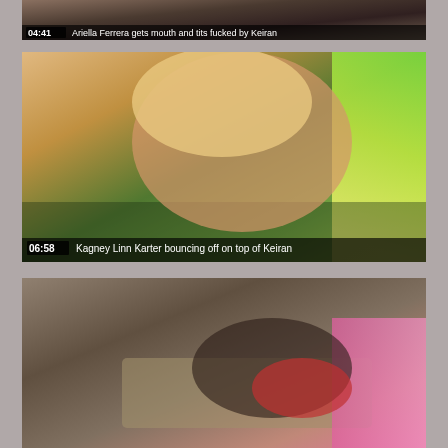[Figure (screenshot): Video thumbnail 1 - duration 04:41, title: Ariella Ferrera gets mouth and tits fucked by Keiran]
[Figure (screenshot): Video thumbnail 2 - outdoor scene, duration 06:58, title: Kagney Linn Karter bouncing off on top of Keiran]
[Figure (screenshot): Video thumbnail 3 - indoor couch scene, partial view, no overlay visible]